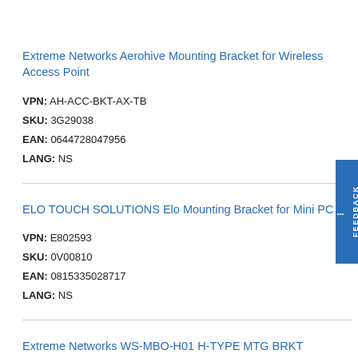Extreme Networks Aerohive Mounting Bracket for Wireless Access Point
VPN: AH-ACC-BKT-AX-TB
SKU: 3G29038
EAN: 0644728047956
LANG: NS
ELO TOUCH SOLUTIONS Elo Mounting Bracket for Mini PC
VPN: E802593
SKU: 0V00810
EAN: 0815335028717
LANG: NS
Extreme Networks WS-MBO-H01 H-TYPE MTG BRKT Mounting Bracket for Network Equipment